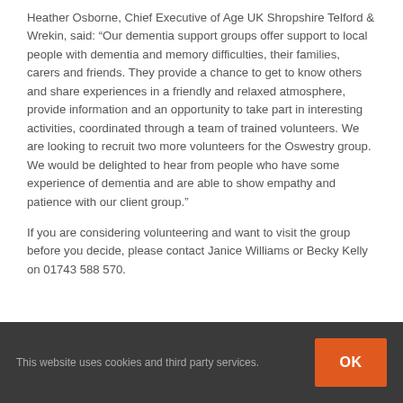Heather Osborne, Chief Executive of Age UK Shropshire Telford & Wrekin, said: “Our dementia support groups offer support to local people with dementia and memory difficulties, their families, carers and friends. They provide a chance to get to know others and share experiences in a friendly and relaxed atmosphere, provide information and an opportunity to take part in interesting activities, coordinated through a team of trained volunteers. We are looking to recruit two more volunteers for the Oswestry group. We would be delighted to hear from people who have some experience of dementia and are able to show empathy and patience with our client group.”
If you are considering volunteering and want to visit the group before you decide, please contact Janice Williams or Becky Kelly on 01743 588 570.
This website uses cookies and third party services. OK